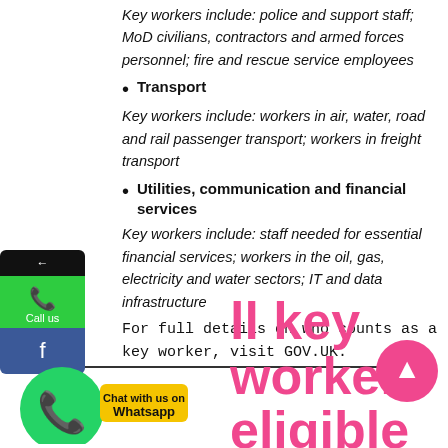Key workers include: police and support staff; MoD civilians, contractors and armed forces personnel; fire and rescue service employees
Transport
Key workers include: workers in air, water, road and rail passenger transport; workers in freight transport
Utilities, communication and financial services
Key workers include: staff needed for essential financial services; workers in the oil, gas, electricity and water sectors; IT and data infrastructure
For full details on who counts as a key worker, visit GOV.UK.
[Figure (screenshot): WhatsApp chat widget with yellow badge saying 'Chat with us on Whatsapp' and a green WhatsApp bubble icon on the left]
ll key workers eligible